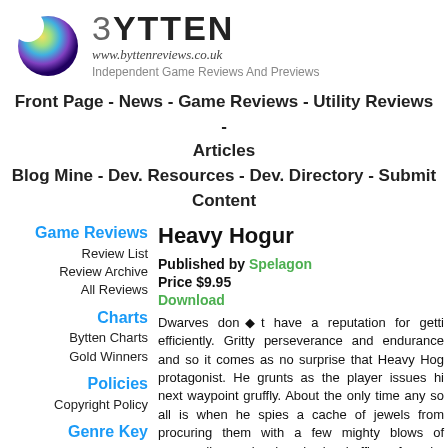[Figure (logo): Bytten website logo: colorful sphere with bite taken out on left, large BYTTEN text with stylized B, URL www.byttenreviews.co.uk in italic, tagline Independent Game Reviews And Previews]
Front Page - News - Game Reviews - Utility Reviews - Articles
Blog Mine - Dev. Resources - Dev. Directory - Submit Content
Game Reviews
Review List
Review Archive
All Reviews
Heavy Hogur
Published by Spelagon
Price $9.95
Download
Charts
Bytten Charts
Gold Winners
Dwarves don◆t have a reputation for getti efficiently. Gritty perseverance and endurance and so it comes as no surprise that Heavy Hog protagonist. He grunts as the player issues hi next waypoint gruffly. About the only time any so all is when he spies a cache of jewels from procuring them with a few mighty blows of surrounding rocks, he slowly shuffles of again, becoming lost or occasionally by some kind actually finds his way to the level exit.
Policies
Copyright Policy
Genre Key
View Key